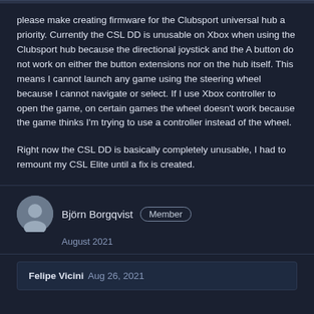please make creating firmware for the Clubsport universal hub a priority. Currently the CSL DD is unusable on Xbox when using the Clubsport hub because the directional joystick and the A button do not work on either the button extensions nor on the hub itself. This means I cannot launch any game using the steering wheel because I cannot navigate or select. If I use Xbox controller to open the game, on certain games the wheel doesn't work because the game thinks I'm trying to use a controller instead of the wheel.
Right now the CSL DD is basically completely unusable, I had to remount my CSL Elite until a fix is created.
Björn Borgqvist  Member
August 2021
Felipe Vicini  Aug 26, 2021